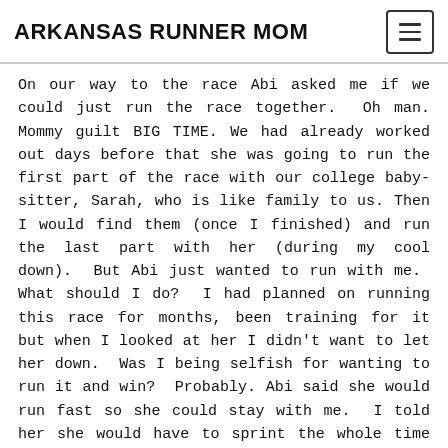ARKANSAS RUNNER MOM
On our way to the race Abi asked me if we could just run the race together.  Oh man. Mommy guilt BIG TIME. We had already worked out days before that she was going to run the first part of the race with our college baby-sitter, Sarah, who is like family to us. Then I would find them (once I finished) and run the last part with her (during my cool down).  But Abi just wanted to run with me.  What should I do?  I had planned on running this race for months, been training for it but when I looked at her I didn't want to let her down.  Was I being selfish for wanting to run it and win?  Probably. Abi said she would run fast so she could stay with me.  I told her she would have to sprint the whole time and that it would be hard and not as fun as it would be running with Sarah.  I said it